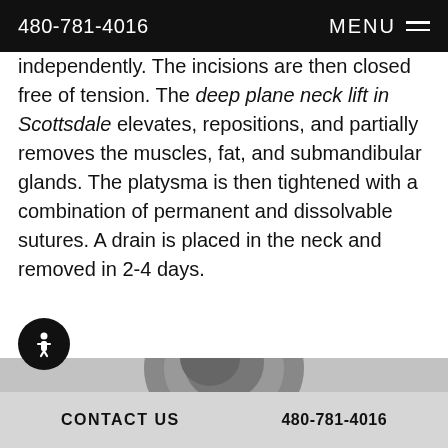480-781-4016  MENU
independently.  The incisions are then closed free of tension.  The deep plane neck lift in Scottsdale elevates, repositions, and partially removes the muscles, fat, and submandibular glands.  The platysma is then tightened with a combination of permanent and dissolvable sutures.  A drain is placed in the neck and removed in 2-4 days.
[Figure (photo): Partial view of a patient's head/hair, grayscale photo, cropped at bottom of page]
CONTACT US  480-781-4016